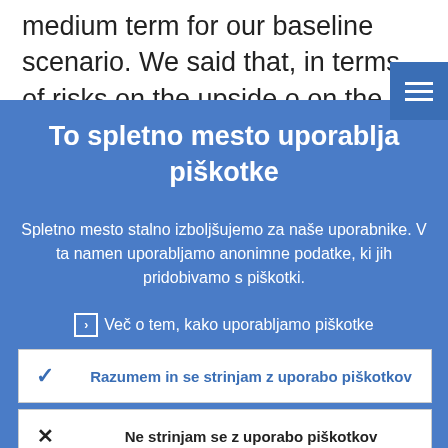medium term for our baseline scenario. We said that, in terms of risks on the upside on the downside; we do not see a bias; we
To spletno mesto uporablja piškotke
Spletno mesto stalno izboljšujemo za naše uporabnike. V ta namen uporabljamo anonimne podatke, ki jih pridobivamo s piškotki.
› Več o tem, kako uporabljamo piškotke
✓ Razumem in se strinjam z uporabo piškotkov
✗ Ne strinjam se z uporabo piškotkov